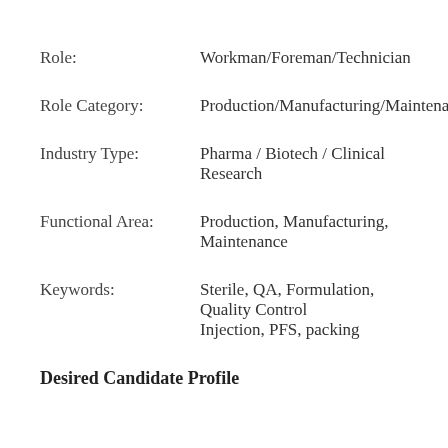Role: Workman/Foreman/Technician
Role Category: Production/Manufacturing/Maintenance
Industry Type: Pharma / Biotech / Clinical   Research
Functional Area: Production, Manufacturing,   Maintenance
Keywords: Sterile, QA, Formulation,   Quality Control Injection, PFS, packing
Desired Candidate Profile